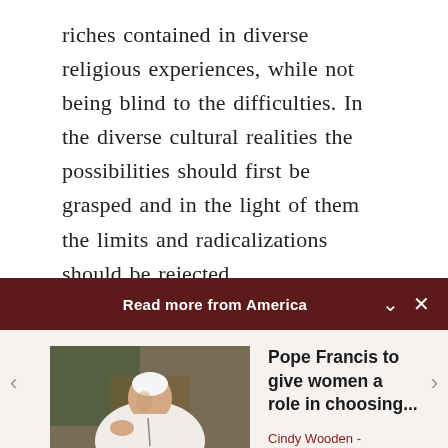riches contained in diverse religious experiences, while not being blind to the difficulties. In the diverse cultural realities the possibilities should first be grasped and in the light of them the limits and radicalizations should be rejected.

Christian marriage cannot only be considered as a cultural tradition or social obligation, but has
Read more from America
[Figure (photo): Photo of Pope Francis wearing white robes, gesturing with his hand, seated]
Pope Francis to give women a role in choosing...
Cindy Wooden - Catholic News Service